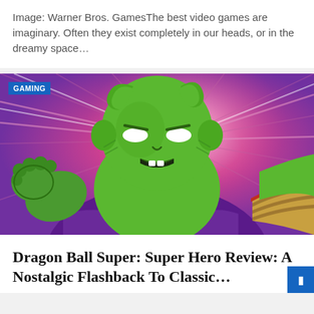Image: Warner Bros. GamesThe best video games are imaginary. Often they exist completely in our heads, or in the dreamy space…
[Figure (illustration): Anime illustration of Piccolo from Dragon Ball Super: Super Hero, a green-skinned character with antennae wearing a purple cape, reaching toward the camera with a fierce expression against a pink/purple glowing background. A GAMING badge appears in the top left corner.]
Dragon Ball Super: Super Hero Review: A Nostalgic Flashback To Classic…